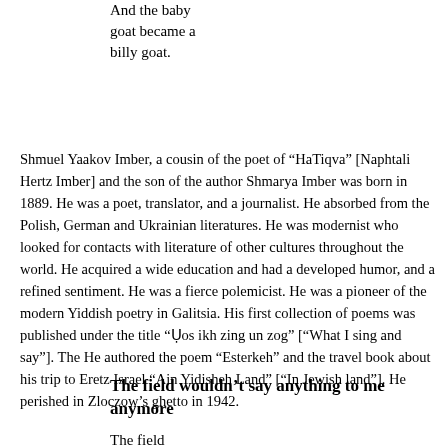And the baby
goat became a
billy goat.
Shmuel Yaakov Imber, a cousin of the poet of “HaTiqva” [Naphtali Hertz Imber] and the son of the author Shmarya Imber was born in 1889. He was a poet, translator, and a journalist. He absorbed from the Polish, German and Ukrainian literatures. He was modernist who looked for contacts with literature of other cultures throughout the world. He acquired a wide education and had a developed humor, and a refined sentiment. He was a fierce polemicist. He was a pioneer of the modern Yiddish poetry in Galitsia. His first collection of poems was published under the title “Vos ikh zing un zog” [“What I sing and say”]. The He authored the poem “Esterkeh” and the travel book about his trip to Eretz Israel “Ain Yidisheh Land” [“In Jewish land”]. He perished in Zloczow’s ghetto in 1942.
The field wouldn’t say anything to me anymore
The field